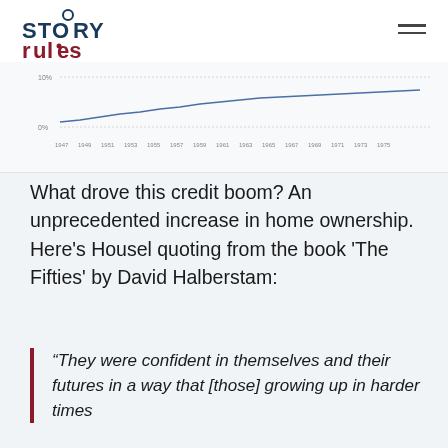[Figure (logo): Story Rules logo with stylized text and circular element above letter O in STORY]
[Figure (continuous-plot): Partial line chart showing data from 1947 to 1975, with y-axis labels showing 10% and 0%, x-axis showing years from 1947 to 1975]
What drove this credit boom? An unprecedented increase in home ownership. Here's Housel quoting from the book 'The Fifties' by David Halberstam:
“They were confident in themselves and their futures in a way that [those] growing up in harder times